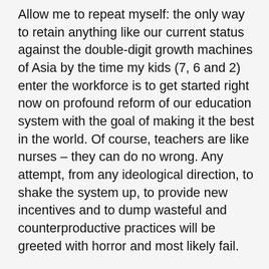Allow me to repeat myself: the only way to retain anything like our current status against the double-digit growth machines of Asia by the time my kids (7, 6 and 2) enter the workforce is to get started right now on profound reform of our education system with the goal of making it the best in the world. Of course, teachers are like nurses – they can do no wrong. Any attempt, from any ideological direction, to shake the system up, to provide new incentives and to dump wasteful and counterproductive practices will be greeted with horror and most likely fail.